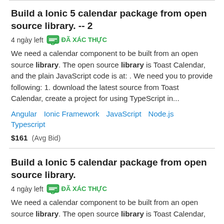Build a Ionic 5 calendar package from open source library. -- 2  4 ngày left  ĐÃ XÁC THỰC
We need a calendar component to be built from an open source library. The open source library is Toast Calendar, and the plain JavaScript code is at: . We need you to provide following: 1. download the latest source from Toast Calendar, create a project for using TypeScript in...
Angular  Ionic Framework  JavaScript  Node.js  Typescript
$161  (Avg Bid)
Build a Ionic 5 calendar package from open source library.  4 ngày left  ĐÃ XÁC THỰC
We need a calendar component to be built from an open source library. The open source library is Toast Calendar...